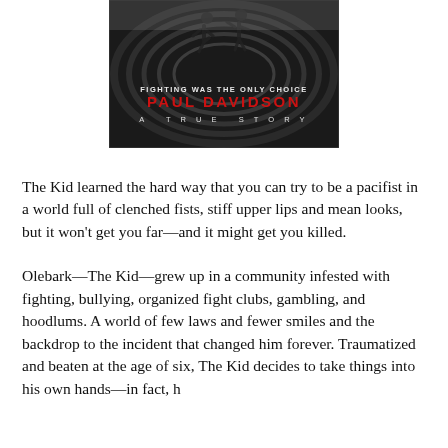[Figure (photo): Book cover image showing silhouettes of fighting figures, with text 'FIGHTING WAS THE ONLY CHOICE', 'PAUL DAVIDSON' in red, and 'A TRUE STORY' below.]
The Kid learned the hard way that you can try to be a pacifist in a world full of clenched fists, stiff upper lips and mean looks, but it won't get you far—and it might get you killed.
Olebark—The Kid—grew up in a community infested with fighting, bullying, organized fight clubs, gambling, and hoodlums. A world of few laws and fewer smiles and the backdrop to the incident that changed him forever. Traumatized and beaten at the age of six, The Kid decides to take things into his own hands—in fact, h